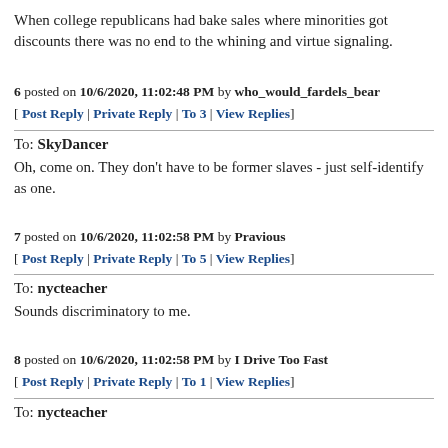When college republicans had bake sales where minorities got discounts there was no end to the whining and virtue signaling.
6 posted on 10/6/2020, 11:02:48 PM by who_would_fardels_bear
[ Post Reply | Private Reply | To 3 | View Replies]
To: SkyDancer
Oh, come on. They don't have to be former slaves - just self-identify as one.
7 posted on 10/6/2020, 11:02:58 PM by Pravious
[ Post Reply | Private Reply | To 5 | View Replies]
To: nycteacher
Sounds discriminatory to me.
8 posted on 10/6/2020, 11:02:58 PM by I Drive Too Fast
[ Post Reply | Private Reply | To 1 | View Replies]
To: nycteacher